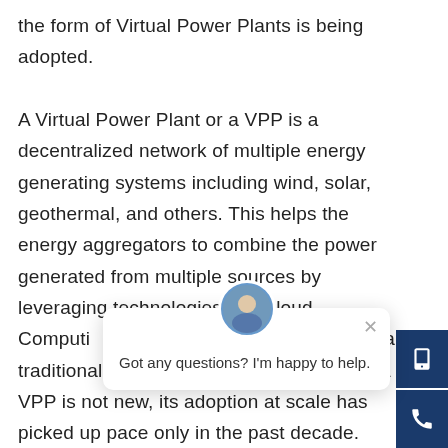the form of Virtual Power Plants is being adopted.

A Virtual Power Plant or a VPP is a decentralized network of multiple energy generating systems including wind, solar, geothermal, and others. This helps the energy aggregators to combine the power generated from multiple sources by leveraging technologies like Cloud Computing desired scale a... not feasible in a traditional model. Although the concept of a VPP is not new, its adoption at scale has picked up pace only in the past decade.
[Figure (screenshot): Chat popup overlay with user avatar, close button, and message 'Got any questions? I'm happy to help.' with orange chat launcher button]